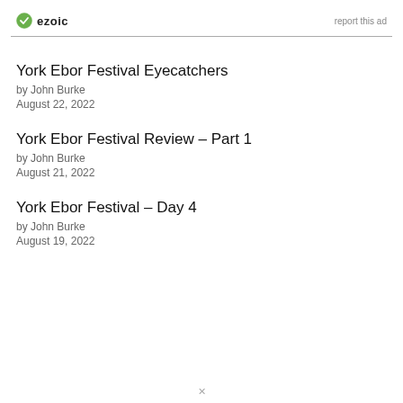ezoic | report this ad
York Ebor Festival Eyecatchers
by John Burke
August 22, 2022
York Ebor Festival Review – Part 1
by John Burke
August 21, 2022
York Ebor Festival – Day 4
by John Burke
August 19, 2022